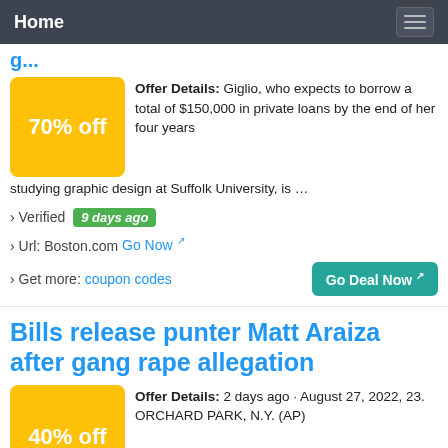Home
Offer Details: Giglio, who expects to borrow a total of $150,000 in private loans by the end of her four years studying graphic design at Suffolk University, is …
› Verified  9 days ago
› Url: Boston.com  Go Now
› Get more:  coupon codes
Bills release punter Matt Araiza after gang rape allegation
Offer Details: 2 days ago · August 27, 2022, 23. ORCHARD PARK, N.Y. (AP)
[Figure (other): 40% off badge in yellow]